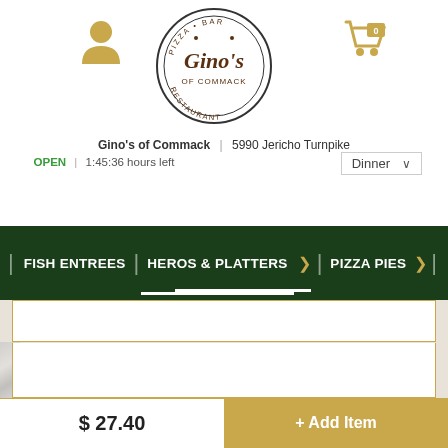[Figure (logo): Gino's of Commack circular logo with 'PIZZA BAR RESTAURANT' text around a cursive 'Gino's' script]
[Figure (illustration): Gold/amber user/person icon on left side of header]
[Figure (illustration): Gold/amber shopping cart icon with '0' badge on right side of header]
Gino's of Commack | 5990 Jericho Turnpike
OPEN | 1:45:36 hours left
Dinner
FISH ENTREES | HEROS & PLATTERS > | PIZZA PIES >
$ 27.40
+ Add Item